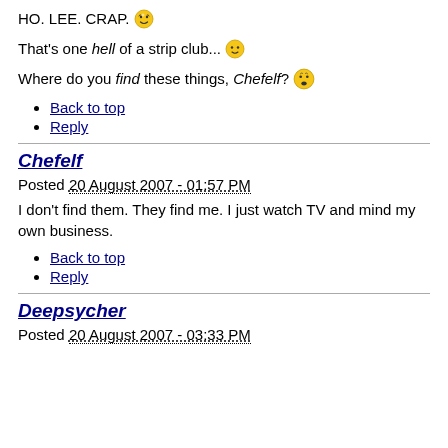HO. LEE. CRAP. [emoji]
That's one hell of a strip club... [emoji]
Where do you find these things, Chefelf? [emoji]
Back to top
Reply
Chefelf
Posted 20 August 2007 - 01:57 PM
I don't find them. They find me. I just watch TV and mind my own business.
Back to top
Reply
Deepsycher
Posted 20 August 2007 - 03:33 PM